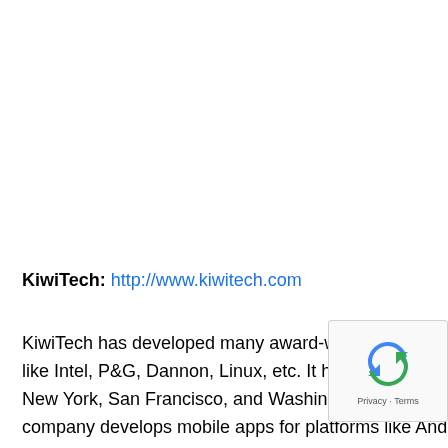KiwiTech: http://www.kiwitech.com
KiwiTech has developed many award-winning apps for like Intel, P&G, Dannon, Linux, etc. It has offices in New York, San Francisco, and Washington D.C. The company develops mobile apps for platforms like Android, iOS, HTML5 and others. As of now, Kiwitech has delivered